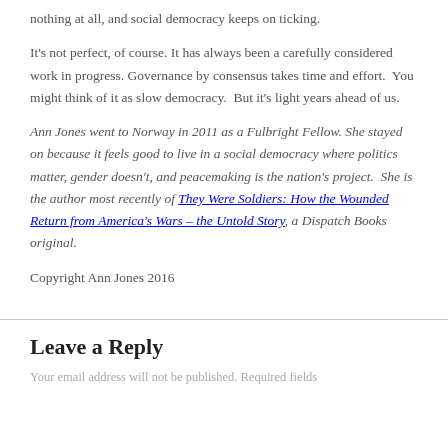nothing at all, and social democracy keeps on ticking.
It's not perfect, of course. It has always been a carefully considered work in progress. Governance by consensus takes time and effort.  You might think of it as slow democracy.  But it's light years ahead of us.
Ann Jones went to Norway in 2011 as a Fulbright Fellow. She stayed on because it feels good to live in a social democracy where politics matter, gender doesn't, and peacemaking is the nation's project.  She is the author most recently of They Were Soldiers: How the Wounded Return from America's Wars – the Untold Story, a Dispatch Books original.
Copyright Ann Jones 2016
Leave a Reply
Your email address will not be published. Required fields